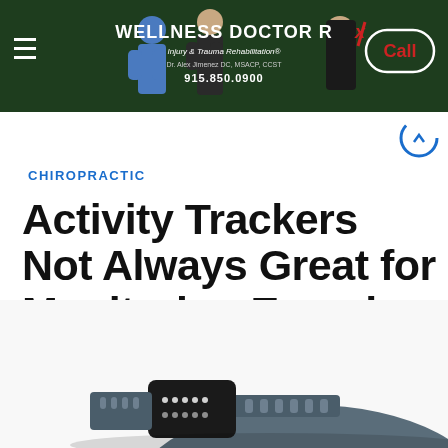[Figure (screenshot): Wellness Doctor Rx banner with logo, people, phone number 915.850.0900, and Call button on dark green background]
CHIROPRACTIC
Activity Trackers Not Always Great for Monitoring Exercise Heart Rate
[Figure (photo): Partial image of a gray/dark fitness activity tracker wristband viewed from above]